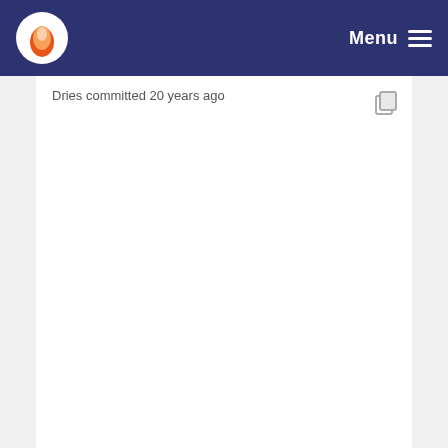Menu
Dries committed 20 years ago
This is a major change to the system, needs more ... Kjartan committed 20 years ago
Dries committed 19 years ago
Dries committed 20 years ago
Dries committed 20 years ago